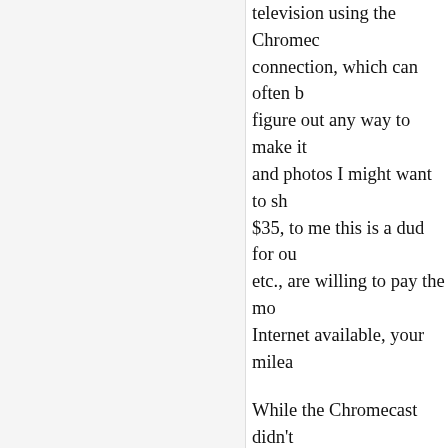television using the Chromecast connection, which can often be figure out any way to make it and photos I might want to sh $35, to me this is a dud for ou etc., are willing to pay the mo Internet available, your milea
While the Chromecast didn't my most recent tests put a sm dropped from 146 to 64, and down to 6.1. At least a part o was hospitalized last Novemb a day and had been for years everything else, I'd be a happ
Be sure to enter our latest Fro of Crazy Days in Big Lake, th enter, all you have to do is cli